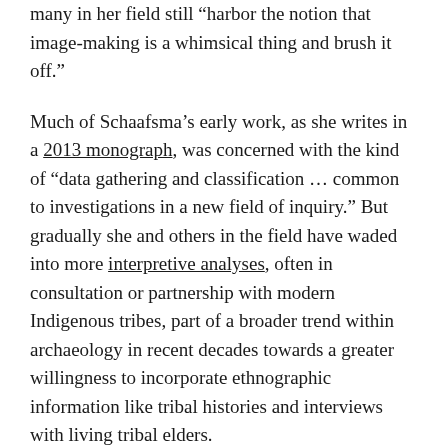many in her field still “harbor the notion that image-making is a whimsical thing and brush it off.”
Much of Schaafsma’s early work, as she writes in a 2013 monograph, was concerned with the kind of “data gathering and classification … common to investigations in a new field of inquiry.” But gradually she and others in the field have waded into more interpretive analyses, often in consultation or partnership with modern Indigenous tribes, part of a broader trend within archaeology in recent decades towards a greater willingness to incorporate ethnographic information like tribal histories and interviews with living tribal elders.
Of course, in the study of rock art and beyond, collaboration between white researchers and